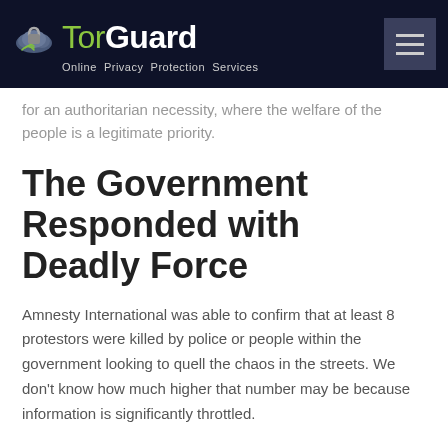TorGuard — Online Privacy Protection Services
for an authoritarian necessity, where the welfare of the people is a legitimate priority.
The Government Responded with Deadly Force
Amnesty International was able to confirm that at least 8 protestors were killed by police or people within the government looking to quell the chaos in the streets. We don't know how much higher that number may be because information is significantly throttled.
Amnesty International officials assigned to the region are outright condemning the